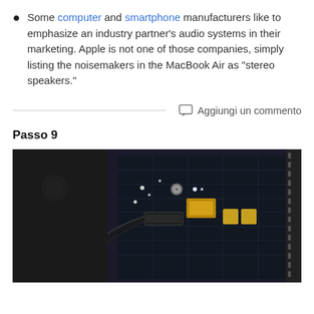Some computer and smartphone manufacturers like to emphasize an industry partner's audio systems in their marketing. Apple is not one of those companies, simply listing the noisemakers in the MacBook Air as "stereo speakers."
Aggiungi un commento
Passo 9
[Figure (photo): Close-up photo of a hand disconnecting a cable connector from a MacBook Air logic board, showing the internal components including the PCB with various electronic components.]